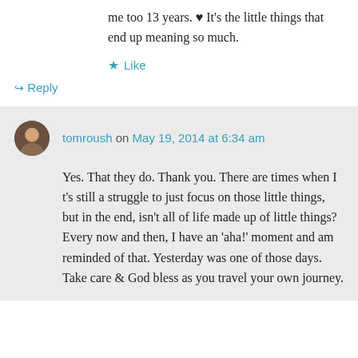me too 13 years. ♥ It's the little things that end up meaning so much.
★ Like
↪ Reply
tomroush on May 19, 2014 at 6:34 am
Yes. That they do. Thank you. There are times when I t's still a struggle to just focus on those little things, but in the end, isn't all of life made up of little things? Every now and then, I have an 'aha!' moment and am reminded of that. Yesterday was one of those days. Take care & God bless as you travel your own journey.